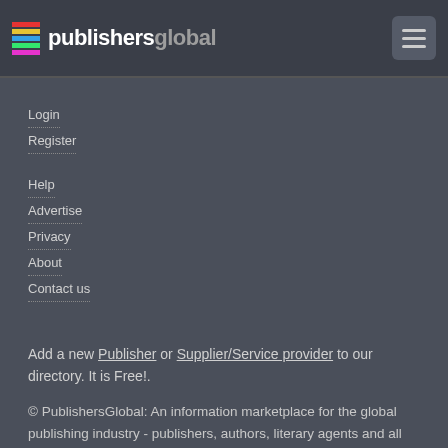publishersglobal
Login
Register
Help
Advertise
Privacy
About
Contact us
Add a new Publisher or Supplier/Service provider to our directory. It is Free!.
© PublishersGlobal: An information marketplace for the global publishing industry - publishers, authors, literary agents and all kinds of publishing service providers. PublishersGlobal includes a global directory of publishing companies, publishing industry events and publishing news.